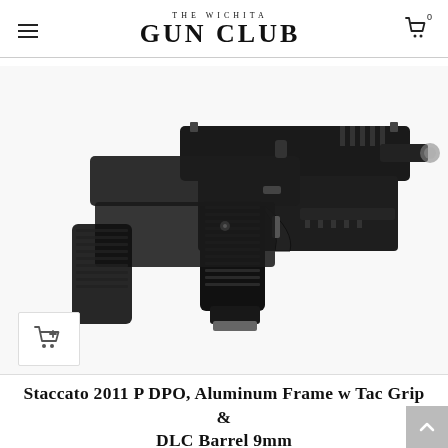THE WICHITA GUN CLUB
[Figure (photo): A Staccato 2011 P DPO pistol with aluminum frame, Tac grip, and DLC barrel in 9mm. Two handguns shown together at angle on white background, both matte black with textured grips.]
Staccato 2011 P DPO, Aluminum Frame w Tac Grip & DLC Barrel 9mm